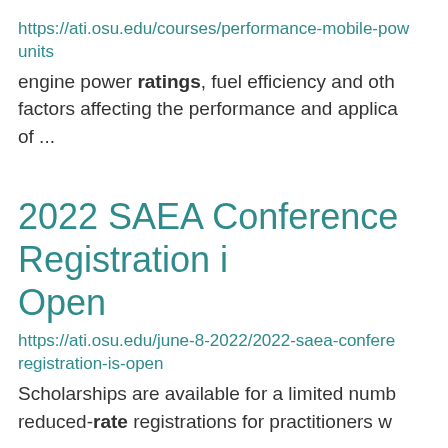https://ati.osu.edu/courses/performance-mobile-pow units
engine power ratings, fuel efficiency and oth factors affecting the performance and applica of ...
2022 SAEA Conference Registration i Open
https://ati.osu.edu/june-8-2022/2022-saea-confere registration-is-open
Scholarships are available for a limited numb reduced-rate registrations for practitioners w ...
Yellow Perch